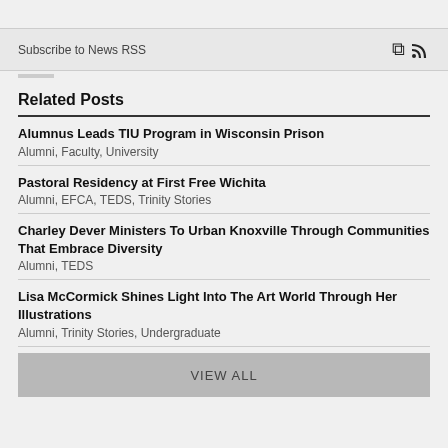Subscribe to News RSS
Related Posts
Alumnus Leads TIU Program in Wisconsin Prison
Alumni, Faculty, University
Pastoral Residency at First Free Wichita
Alumni, EFCA, TEDS, Trinity Stories
Charley Dever Ministers To Urban Knoxville Through Communities That Embrace Diversity
Alumni, TEDS
Lisa McCormick Shines Light Into The Art World Through Her Illustrations
Alumni, Trinity Stories, Undergraduate
VIEW ALL